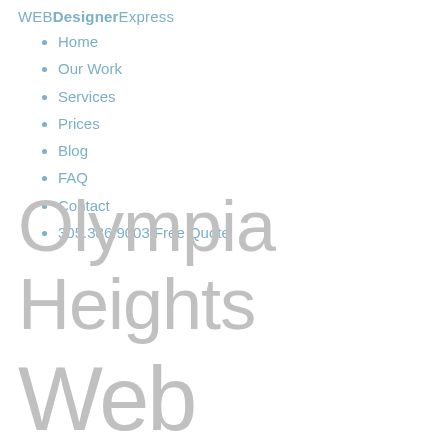WEBDesignerExpress
Home
Our Work
Services
Prices
Blog
FAQ
Contact
305.386.9003 Free Quote
Olympia Heights Web Design